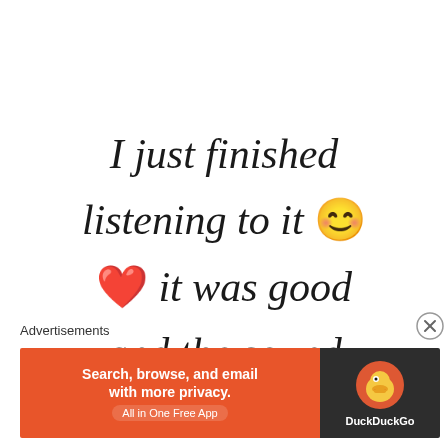I just finished listening to it 😊 ❤️ it was good and the sound
Advertisements
[Figure (screenshot): DuckDuckGo advertisement banner: orange left panel with text 'Search, browse, and email with more privacy. All in One Free App', dark right panel with DuckDuckGo duck logo and brand name]